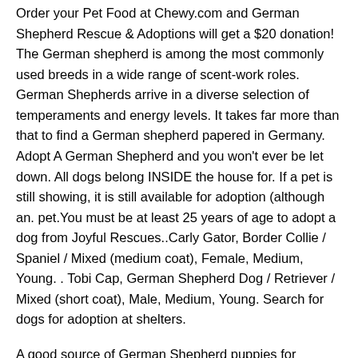Order your Pet Food at Chewy.com and German Shepherd Rescue & Adoptions will get a $20 donation! The German shepherd is among the most commonly used breeds in a wide range of scent-work roles. German Shepherds arrive in a diverse selection of temperaments and energy levels. It takes far more than that to find a German shepherd papered in Germany. Adopt A German Shepherd and you won't ever be let down. All dogs belong INSIDE the house for. If a pet is still showing, it is still available for adoption (although an. pet.You must be at least 25 years of age to adopt a dog from Joyful Rescues..Carly Gator, Border Collie / Spaniel / Mixed (medium coat), Female, Medium, Young. . Tobi Cap, German Shepherd Dog / Retriever / Mixed (short coat), Male, Medium, Young. Search for dogs for adoption at shelters.
A good source of German Shepherd puppies for adoption are basically pet shelters and rescue centres. Apart from local shelters and rescue centres, searching online is also very convenient. Pet shelters or Rescue Centres. Pet shelters and rescue centres are dedicated to pet adoption. "Click here to view German Shepherd Dogs in Colorado for adoption. Individuals & rescue groups can post animals free." – ♥ RESCUE ME! ♥ ⓘ German Shepherd puppies will vary in price from breeder to breeder based on experience, pedigree, and other factors. For example, white German Shepherd puppies for sale, black German